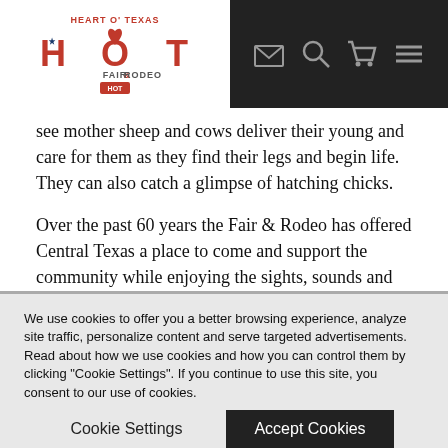Heart O' Texas Fair & Rodeo — website header with logo and navigation icons (envelope, search, cart, menu)
see mother sheep and cows deliver their young and care for them as they find their legs and begin life. They can also catch a glimpse of hatching chicks.
Over the past 60 years the Fair & Rodeo has offered Central Texas a place to come and support the community while enjoying the sights, sounds and smells that make the Heart O' Texas Fair & Rodeo what it is! The Fair is held annually at the Extraco Events Center in Waco, TX, with over 198,000 in attendance in 2012. For more information about the Heart O' Texas Fair & Rodeo, visit hotfair.com.
The Extraco Events Center, home of the Heart O' Texas Fair & Rodeo, is the center of entertainment in Central Texas. Its mission is to produce events for education, entertainment and
We use cookies to offer you a better browsing experience, analyze site traffic, personalize content and serve targeted advertisements. Read about how we use cookies and how you can control them by clicking "Cookie Settings". If you continue to use this site, you consent to our use of cookies.
Cookie Settings | Accept Cookies